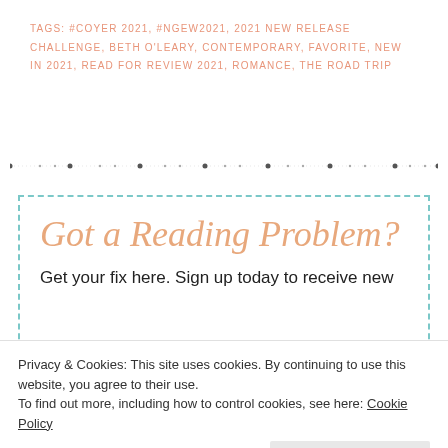TAGS: #COYER 2021, #NGEW2021, 2021 NEW RELEASE CHALLENGE, BETH O'LEARY, CONTEMPORARY, FAVORITE, NEW IN 2021, READ FOR REVIEW 2021, ROMANCE, THE ROAD TRIP
[Figure (other): Decorative dotted divider line]
Got a Reading Problem?
Get your fix here. Sign up today to receive new
Privacy & Cookies: This site uses cookies. By continuing to use this website, you agree to their use.
To find out more, including how to control cookies, see here: Cookie Policy
Close and accept